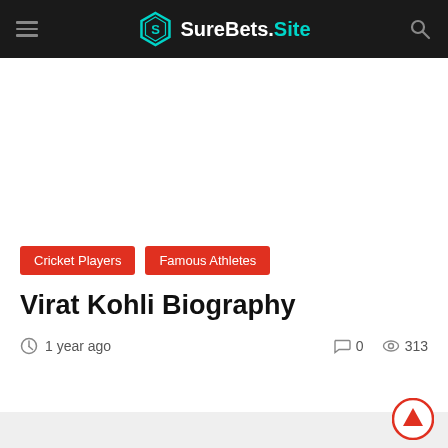SureBets.Site
Cricket Players
Famous Athletes
Virat Kohli Biography
1 year ago   0   313